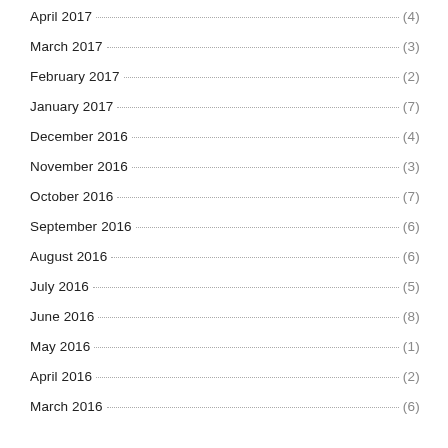April 2017 (4)
March 2017 (3)
February 2017 (2)
January 2017 (7)
December 2016 (4)
November 2016 (3)
October 2016 (7)
September 2016 (6)
August 2016 (6)
July 2016 (5)
June 2016 (8)
May 2016 (1)
April 2016 (2)
March 2016 (6)